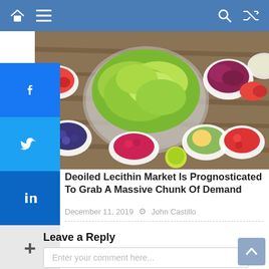Navigation bar with home, menu, search, and shuffle icons
[Figure (photo): Overhead photo of various colorful fruits and vegetables in white bowls on a wooden table, including strawberries, blueberries, raspberries, green salad leaves, red cabbage, avocado, cherry tomatoes, and lime.]
[Figure (infographic): Social media share sidebar with Facebook (blue), Twitter (light blue), LinkedIn (dark blue) icons, and a plus (+) more button on grey background.]
Deoiled Lecithin Market Is Prognosticated To Grab A Massive Chunk Of Demand
December 11, 2019   John Castillo
Leave a Reply
Enter your comment here...